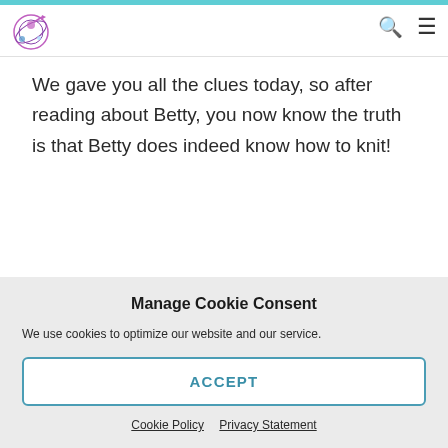[Logo] [Search icon] [Menu icon]
We gave you all the clues today, so after reading about Betty, you now know the truth is that Betty does indeed know how to knit!
Manage Cookie Consent
We use cookies to optimize our website and our service.
ACCEPT
Cookie Policy   Privacy Statement